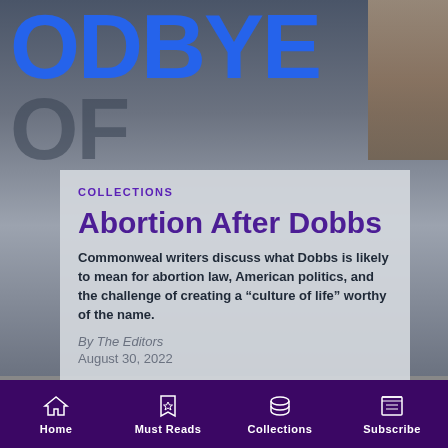[Figure (photo): Background photo showing protest sign with 'GOODBYE' text in large blue letters, with a person visible in the upper right, overlaid with a semi-transparent card]
COLLECTIONS
Abortion After Dobbs
Commonweal writers discuss what Dobbs is likely to mean for abortion law, American politics, and the challenge of creating a “culture of life” worthy of the name.
By The Editors
August 30, 2022
[Figure (photo): Partial view of a book cover showing 'Sisters of' text]
Home   Must Reads   Collections   Subscribe